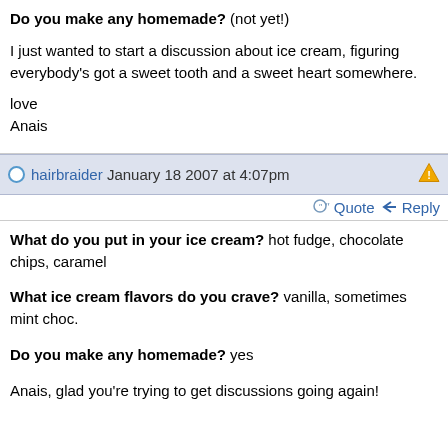Do you make any homemade? (not yet!)

I just wanted to start a discussion about ice cream, figuring everybody's got a sweet tooth and a sweet heart somewhere.

love
Anais
hairbraider January 18 2007 at 4:07pm
Quote   Reply
What do you put in your ice cream? hot fudge, chocolate chips, caramel

What ice cream flavors do you crave? vanilla, sometimes mint choc.

Do you make any homemade? yes

Anais, glad you're trying to get discussions going again!